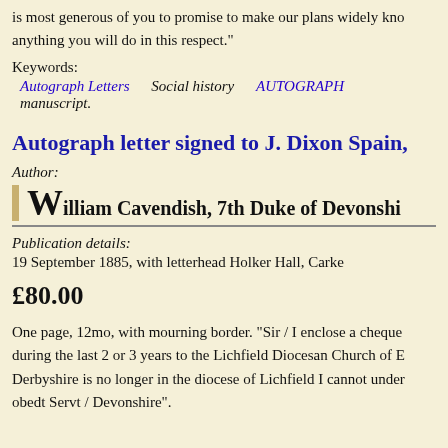is most generous of you to promise to make our plans widely kno anything you will do in this respect."
Keywords:
Autograph Letters   Social history   AUTOGRAPH   manuscript.
Autograph letter signed to J. Dixon Spain,
Author:
William Cavendish, 7th Duke of Devonshi
Publication details:
19 September 1885, with letterhead Holker Hall, Carke
£80.00
One page, 12mo, with mourning border. "Sir / I enclose a cheque during the last 2 or 3 years to the Lichfield Diocesan Church of E Derbyshire is no longer in the diocese of Lichfield I cannot under obedt Servt / Devonshire".